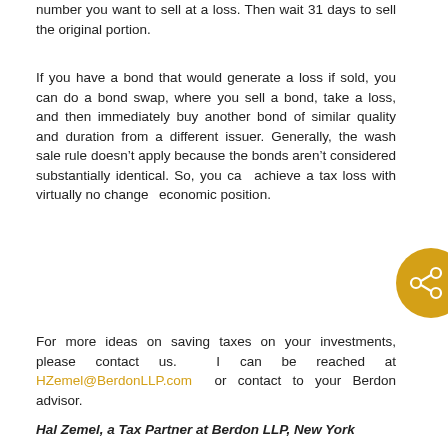number you want to sell at a loss. Then wait 31 days to sell the original portion.
If you have a bond that would generate a loss if sold, you can do a bond swap, where you sell a bond, take a loss, and then immediately buy another bond of similar quality and duration from a different issuer. Generally, the wash sale rule doesn't apply because the bonds aren't considered substantially identical. So, you can achieve a tax loss with virtually no change in economic position.
For more ideas on saving taxes on your investments, please contact us. I can be reached at HZemel@BerdonLLP.com or contact to your Berdon advisor.
Hal Zemel, a Tax Partner at Berdon LLP, New York